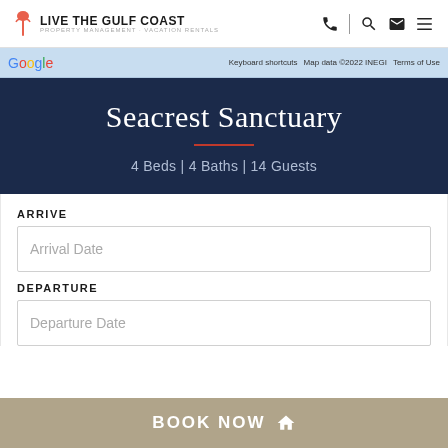LIVE THE GULF COAST — Property Management · Vacation Rentals
[Figure (screenshot): Google Maps strip showing map label, Keyboard shortcuts, Map data ©2022 INEGI, Terms of Use]
Seacrest Sanctuary
4 Beds | 4 Baths | 14 Guests
ARRIVE
Arrival Date
DEPARTURE
Departure Date
BOOK NOW